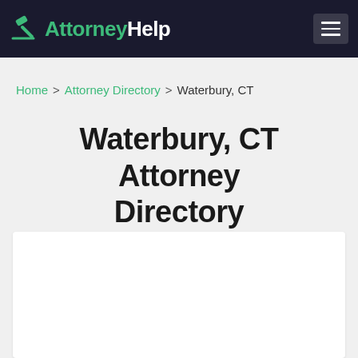AttorneyHelp
Home > Attorney Directory > Waterbury, CT
Waterbury, CT Attorney Directory
[Figure (other): White rectangular advertisement or content box]